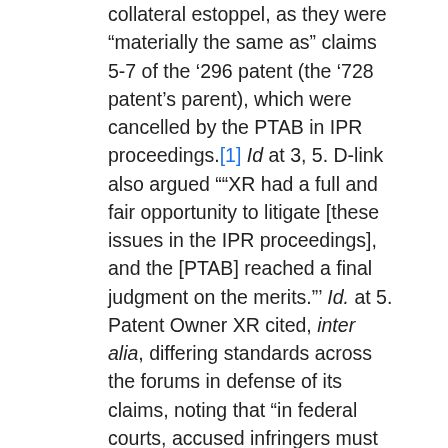collateral estoppel, as they were “materially the same as” claims 5-7 of the ‘296 patent (the ‘728 patent’s parent), which were cancelled by the PTAB in IPR proceedings.[1] Id at 3, 5. D-link also argued ““XR had a full and fair opportunity to litigate [these issues in the IPR proceedings], and the [PTAB] reached a final judgment on the merits.”’ Id. at 5. Patent Owner XR cited, inter alia, differing standards across the forums in defense of its claims, noting that “in federal courts, accused infringers must prove each patent claim invalid by clear and convincing evidence, whereas petitioners in IPRs only need to establish unpatentability by a preponderance of evidence.” Id. at 6.  The District Court granted defendant’s motion on some claims, but not others.
More specifically, with respect to claims 4 and 12 of the ‘728 patent, patent owner XR argued that D-link’s motion had failed to identify any substantively